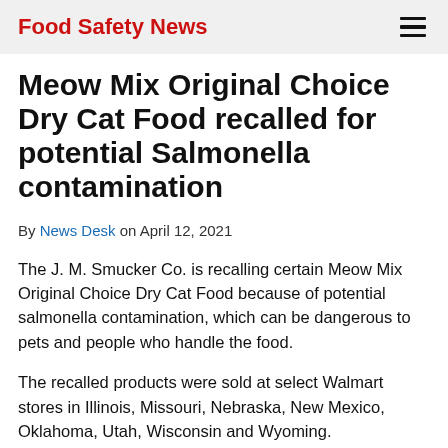Food Safety News
Meow Mix Original Choice Dry Cat Food recalled for potential Salmonella contamination
By News Desk on April 12, 2021
The J. M. Smucker Co. is recalling certain Meow Mix Original Choice Dry Cat Food because of potential salmonella contamination, which can be dangerous to pets and people who handle the food.
The recalled products were sold at select Walmart stores in Illinois, Missouri, Nebraska, New Mexico, Oklahoma, Utah, Wisconsin and Wyoming.